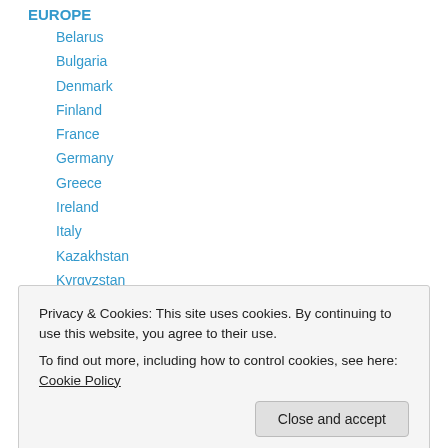EUROPE
Belarus
Bulgaria
Denmark
Finland
France
Germany
Greece
Ireland
Italy
Kazakhstan
Kyrgyzstan
Russia
Privacy & Cookies: This site uses cookies. By continuing to use this website, you agree to their use. To find out more, including how to control cookies, see here: Cookie Policy
Afghanistan